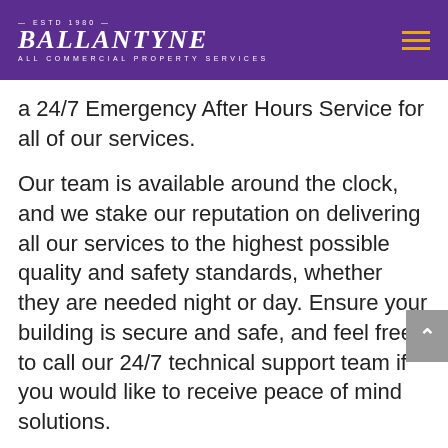BALLANTYNE ALL COMMERCIAL PROPERTY SERVICES
a 24/7 Emergency After Hours Service for all of our services.
Our team is available around the clock, and we stake our reputation on delivering all our services to the highest possible quality and safety standards, whether they are needed night or day. Ensure your building is secure and safe, and feel free to call our 24/7 technical support team if you would like to receive peace of mind solutions.